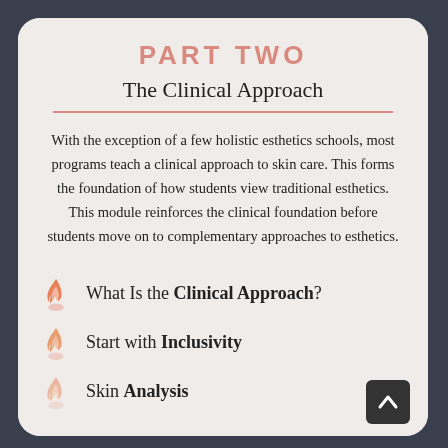PART TWO
The Clinical Approach
With the exception of a few holistic esthetics schools, most programs teach a clinical approach to skin care. This forms the foundation of how students view traditional esthetics. This module reinforces the clinical foundation before students move on to complementary approaches to esthetics.
What Is the Clinical Approach?
Start with Inclusivity
Skin Analysis